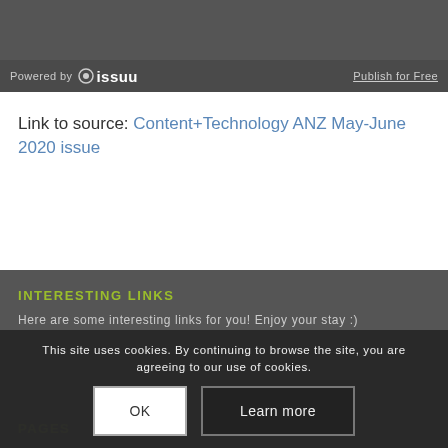Powered by issuu | Publish for Free
Link to source: Content+Technology ANZ May-June 2020 issue
INTERESTING LINKS
Here are some interesting links for you! Enjoy your stay :)
PAGES
This site uses cookies. By continuing to browse the site, you are agreeing to our use of cookies.